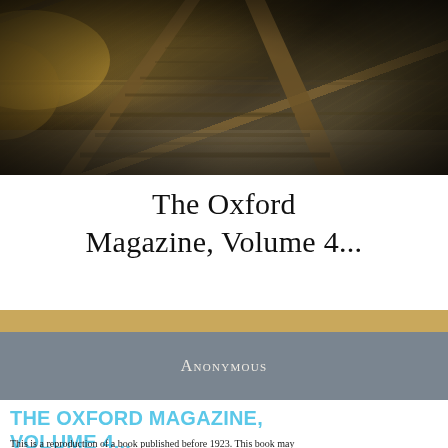[Figure (photo): Photograph of railway tracks receding into the distance, with golden dry grass on the left side and gravel between the tracks, shot from a low angle with warm sepia tones.]
The Oxford Magazine, Volume 4...
Anonymous
THE OXFORD MAGAZINE, VOLUME 4...
This is a reproduction of a book published before 1923. This book may